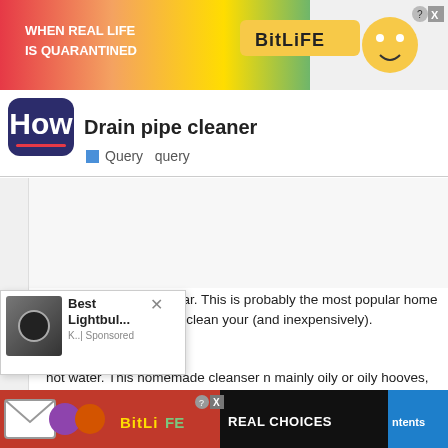[Figure (screenshot): BitLife advertisement banner with rainbow background, text 'WHEN REAL LIFE IS QUARANTINED', BitLife logo, emoji characters]
Drain pipe cleaner
Query   query
[Figure (screenshot): White content area placeholder]
Baking soda and vinegar. This is probably the most popular home remedy you can find to clean your (and inexpensively).
hot water. This homemade cleanser n mainly oily or oily hooves, so you est results when you can.
[Figure (screenshot): Popup ad: Best Lightbul... K..|Sponsored with close X button]
[Figure (screenshot): BitLife bottom advertisement banner: REAL CHOICES with emoji characters]
ntents